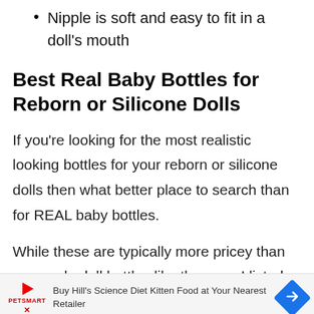Nipple is soft and easy to fit in a doll's mouth
Best Real Baby Bottles for Reborn or Silicone Dolls
If you’re looking for the most realistic looking bottles for your reborn or silicone dolls then what better place to search than for REAL baby bottles.
While these are typically more pricey than pre-made doll bottles like the ones I listed above,
[Figure (screenshot): PetSmart advertisement banner: Buy Hill's Science Diet Kitten Food at Your Nearest Retailer]